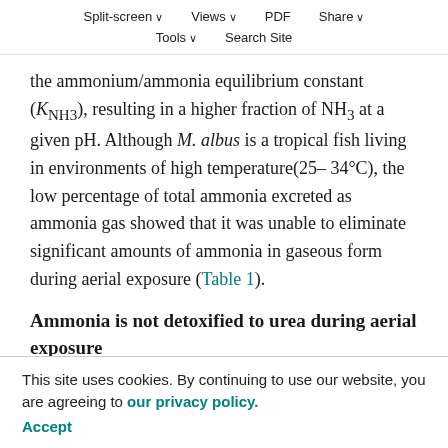Split-screen  Views  PDF  Share  Tools  Search Site
the ammonium/ammonia equilibrium constant (K(NH3)), resulting in a higher fraction of NH3 at a given pH. Although M. albus is a tropical fish living in environments of high temperature (25–34°C), the low percentage of total ammonia excreted as ammonia gas showed that it was unable to eliminate significant amounts of ammonia in gaseous form during aerial exposure (Table 1).
Ammonia is not detoxified to urea during aerial exposure
There was an apparent increase in the percentage of total-N excreted as urea when M. albus was exposed to terrestrial conditions (Fig. 1; Table 3). However, this was mainly due to the drastic decrease of the ammonia excretion rate during aerial exposure. In fact, aerial exposure also affected the rate of urea excretion, which decreased to 25% of the
This site uses cookies. By continuing to use our website, you are agreeing to our privacy policy.
Accept